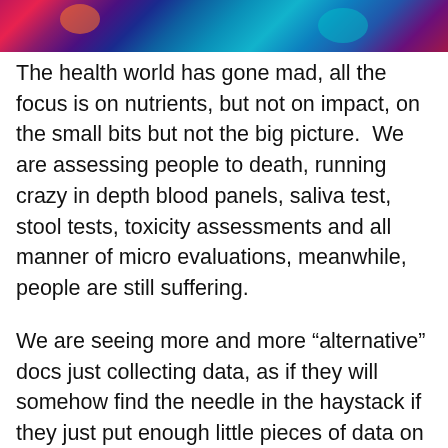[Figure (photo): Colorful abstract or artistic image strip at the top of the page, showing vivid colors including pink, purple, blue, teal, and orange patterns.]
The health world has gone mad, all the focus is on nutrients, but not on impact, on the small bits but not the big picture.  We are assessing people to death, running crazy in depth blood panels, saliva test, stool tests, toxicity assessments and all manner of micro evaluations, meanwhile, people are still suffering.
We are seeing more and more “alternative” docs just collecting data, as if they will somehow find the needle in the haystack if they just put enough little pieces of data on the board, and yet, too many have had all those evaluations and still are sick.